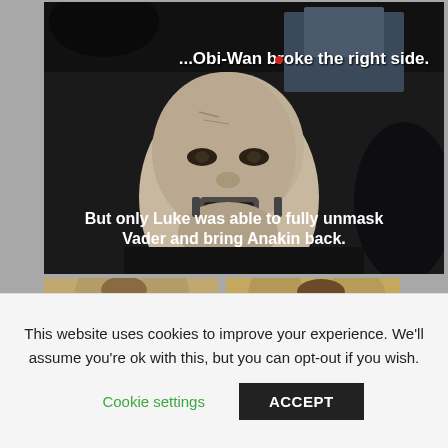[Figure (screenshot): Movie still from Star Wars showing Darth Vader unmasked (Anakin Skywalker's scarred face) with white subtitle text: '...Obi-Wan broke the right side.' at top and 'But only Luke was able to fully unmask Vader and bring Anakin back.' in the middle. Below are two side-by-side movie screenshots showing characters' faces.]
This website uses cookies to improve your experience. We'll assume you're ok with this, but you can opt-out if you wish.
Cookie settings
ACCEPT